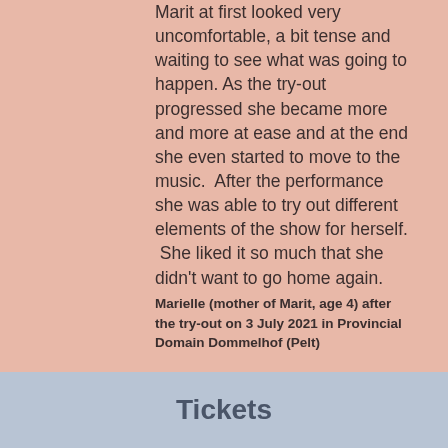Marit at first looked very uncomfortable, a bit tense and waiting to see what was going to happen. As the try-out progressed she became more and more at ease and at the end she even started to move to the music. After the performance she was able to try out different elements of the show for herself. She liked it so much that she didn't want to go home again.
Marielle (mother of Marit, age 4) after the try-out on 3 July 2021 in Provincial Domain Dommelhof (Pelt)
Tickets